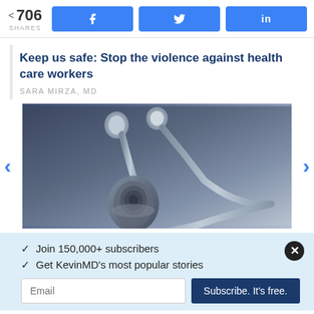706 SHARES | Facebook | Twitter | LinkedIn
Keep us safe: Stop the violence against health care workers
SARA MIRZA, MD
[Figure (photo): Close-up photo of a stethoscope on a dark background with a blueish-grey tone]
Join 150,000+ subscribers
Get KevinMD's most popular stories
Email | Subscribe. It's free.